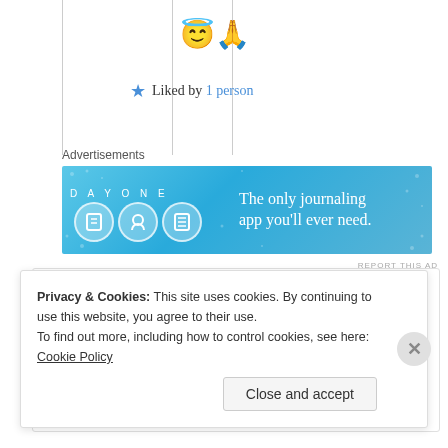😇🙏
★ Liked by 1 person
Advertisements
[Figure (illustration): Day One journaling app advertisement banner with blue background, app icons, and text 'The only journaling app you'll ever need.']
REPORT THIS AD
vaniheart
25th Jun 2021 at 6:05 pm
Privacy & Cookies: This site uses cookies. By continuing to use this website, you agree to their use.
To find out more, including how to control cookies, see here: Cookie Policy
Close and accept